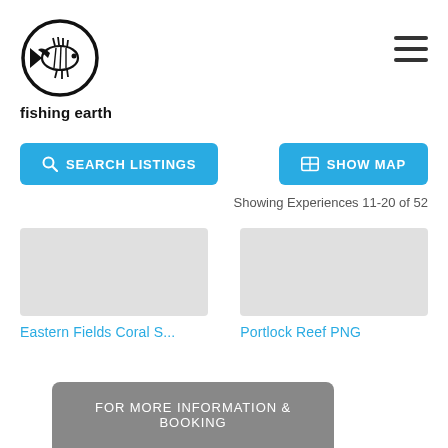[Figure (logo): Fishing Earth logo: a fish skeleton inside a circle]
fishing earth
SEARCH LISTINGS
SHOW MAP
Showing Experiences 11-20 of 52
[Figure (photo): Placeholder image for Eastern Fields Coral S... listing]
Eastern Fields Coral S...
[Figure (photo): Placeholder image for Portlock Reef PNG listing]
Portlock Reef PNG
FOR MORE INFORMATION & BOOKING